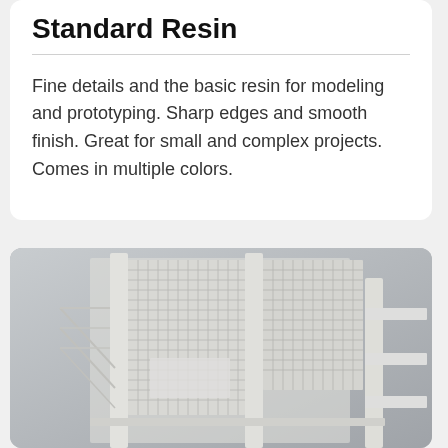Standard Resin
Fine details and the basic resin for modeling and prototyping. Sharp edges and smooth finish. Great for small and complex projects. Comes in multiple colors.
[Figure (photo): Architectural or structural scale model printed in white/light gray resin, showing a grid-panel wall structure with columns and stepped shelving elements, photographed at an angle against a light gray background.]